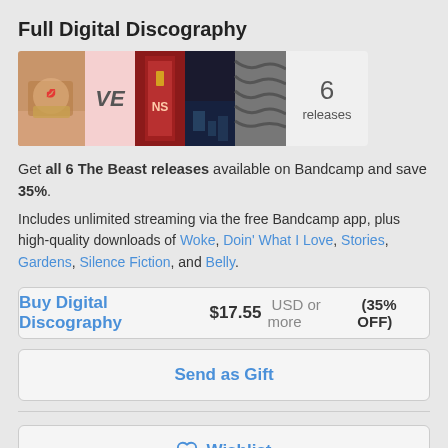Full Digital Discography
[Figure (photo): Collage of 5 album cover images and a gray box showing '6 releases']
Get all 6 The Beast releases available on Bandcamp and save 35%.
Includes unlimited streaming via the free Bandcamp app, plus high-quality downloads of Woke, Doin' What I Love, Stories, Gardens, Silence Fiction, and Belly.
Buy Digital Discography  $17.55 USD or more  (35% OFF)
Send as Gift
Wishlist